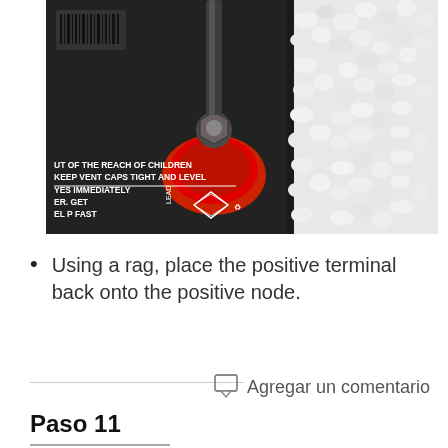[Figure (photo): Close-up photo of a car battery positive terminal being placed back onto the positive node using a white rag/cloth. The battery label shows warnings including 'OUT OF THE REACH OF CHILDREN', 'KEEP VENT CAPS TIGHT AND LEVEL', 'YES IMMEDIATELY', 'ER. GET', 'EL P FAST', and shows hazard symbols. The terminal has a red anti-corrosion washer.]
Using a rag, place the positive terminal back onto the positive node.
Agregar un comentario
Paso 11